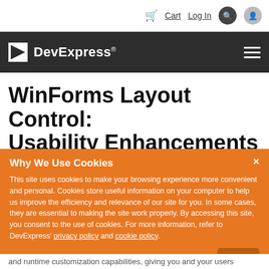Cart  Log In
DevExpress®
WinForms Layout Control: Usability Enhancements
Why We Use Cookies
This site uses cookies to make your browsing experience more convenient and personal. Cookies store useful information on your computer to help us improve the efficiency and relevance of our site for you. In some cases, they are essential to making the site work properly. By accessing this site, you consent to the use of cookies. For more information, refer to DevExpress' privacy policy and cookie policy.
I UNDERSTAND
and runtime customization capabilities, giving you and your users